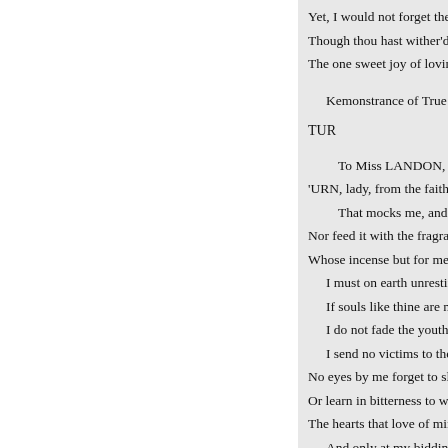Yet, I would not forget thee-no!
Though thou hast wither'd hope i
The one sweet joy of loving thee
Kemonstrance of True Love.
TUR
To Miss LANDON, (L. E.
'URN, lady, from the faithle
That mocks me, and usur
Nor feed it with the fragrant
Whose incense but for me s
I must on earth unresting ro
If souls like thine are not m
I do not fade the youthful b
I send no victims to the ton
No eyes by me forget to sle
Or learn in bitterness to wee
The hearts that love of mine
And only at my bidding bea
Their fate from being the